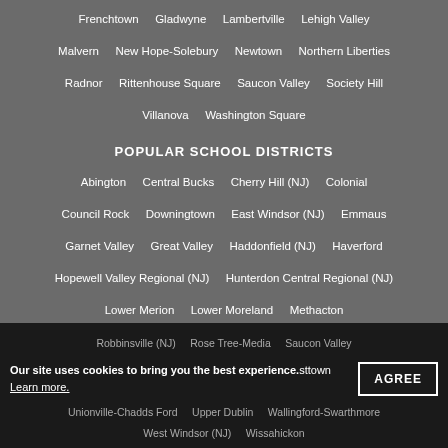Buckingham Township   Dresher Hill   Doylestown   Malvern
Frenchtown   Gladwyne   Lambertville   Lehigh Valley
Malvern   New Hope-Solebury   Newtown   Northern Liberties
Radnor   Rittenhouse Square   Saucon Valley   Society Hill
Villanova   Washington Square
POPULAR SCHOOL DISTRICTS
Abington   Central Bucks   Cherry Hill (NJ)   Colonial
Council Rock   Downingtown   East Windsor (NJ)   Emmaus
Garnet Valley   Great Valley   Haddonfield (NJ)   Haverford
Hopewell Valley Regional (NJ)   Hunterdon Central Regional (NJ)
Lower Merion   Lower Moreland   Methacton
Moorestown Township (NJ)   New Hope-Solebury
Owen J.Roberts   Palisades   Parkland   Pennridge
Pennsbury   Princeton (NJ)   Radnor Township
Robbinsville (NJ)   Rose Tree-Media   Saucon Valley
Unionville-Chadds Ford   Upper Dublin   Wallingford-Swarthmore
West Windsor (NJ)   Wissahickon
Our site uses cookies to bring you the best experience.
Learn more.